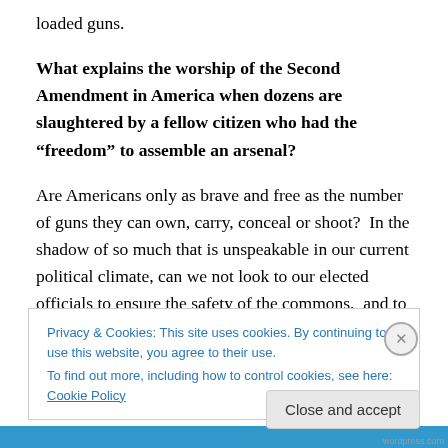loaded guns.
What explains the worship of the Second Amendment in America when dozens are slaughtered by a fellow citizen who had the “freedom” to assemble an arsenal?
Are Americans only as brave and free as the number of guns they can own, carry, conceal or shoot?  In the shadow of so much that is unspeakable in our current political climate, can we not look to our elected officials to ensure the safety of the commons, and to religious leaders
Privacy & Cookies: This site uses cookies. By continuing to use this website, you agree to their use.
To find out more, including how to control cookies, see here: Cookie Policy